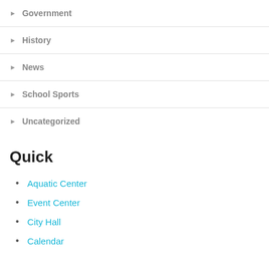Government
History
News
School Sports
Uncategorized
Quick
Aquatic Center
Event Center
City Hall
Calendar